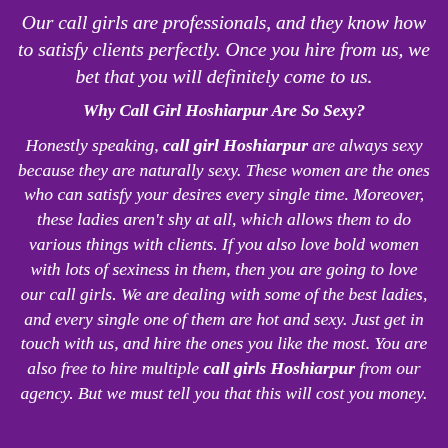Our call girls are professionals, and they know how to satisfy clients perfectly. Once you hire from us, we bet that you will definitely come to us.
Why Call Girl Hoshiarpur Are So Sexy?
Honestly speaking, call girl Hoshiarpur are always sexy because they are naturally sexy. These women are the ones who can satisfy your desires every single time. Moreover, these ladies aren't shy at all, which allows them to do various things with clients. If you also love bold women with lots of sexiness in them, then you are going to love our call girls. We are dealing with some of the best ladies, and every single one of them are hot and sexy. Just get in touch with us, and hire the ones you like the most. You are also free to hire multiple call girls Hoshiarpur from our agency. But we must tell you that this will cost you money.